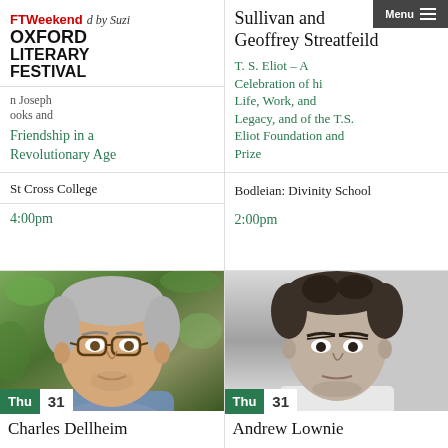FT Weekend Oxford Literary Festival
d by Suzi
n Joseph ooks and Friendship in a Revolutionary Age
St Cross College
4:00pm
Sullivan and Geoffrey Streatfeild
T. S. Eliot – A Celebration of his Life, Work, and Legacy, and of the T.S. Eliot Foundation and Prize
Bodleian: Divinity School
2:00pm
[Figure (photo): Photo of Charles Dellheim, a man with grey hair and round glasses]
Thu 31
Charles Dellheim
Belonging and...
[Figure (photo): Black and white photo of Andrew Lownie]
Thu 31
Andrew Lownie